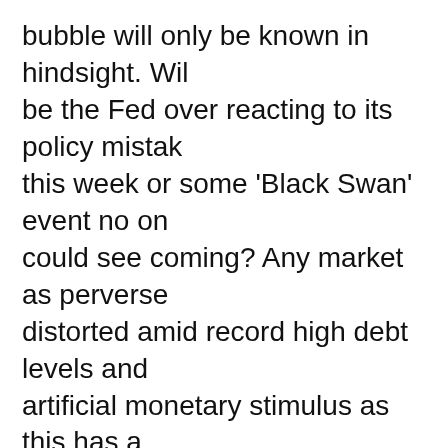bubble will only be known in hindsight. Will be the Fed over reacting to its policy mistake this week or some 'Black Swan' event no one could see coming? Any market as perverse distorted amid record high debt levels and artificial monetary stimulus as this has a myriad of Black Swans circling. Which one doesn't actually matter. Being balanced and prepared is all that matters.
Be wary of following the generals into the ambush. TINA, there is an alternative. Precious metals present a very clear compelling alternative amid such distress and at relatively bargain prices.
[Figure (other): Yellow square with three horizontal black lines (hamburger menu icon)]